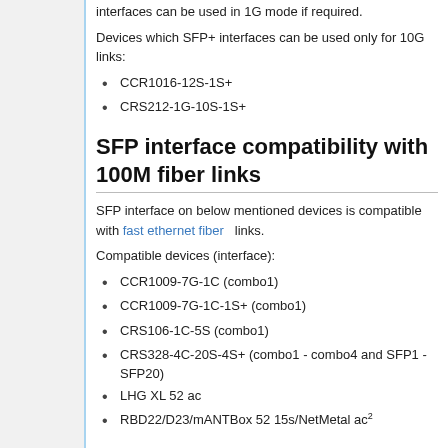interfaces can be used in 1G mode if required.
Devices which SFP+ interfaces can be used only for 10G links:
CCR1016-12S-1S+
CRS212-1G-10S-1S+
SFP interface compatibility with 100M fiber links
SFP interface on below mentioned devices is compatible with fast ethernet fiber links.
Compatible devices (interface):
CCR1009-7G-1C (combo1)
CCR1009-7G-1C-1S+ (combo1)
CRS106-1C-5S (combo1)
CRS328-4C-20S-4S+ (combo1 - combo4 and SFP1 - SFP20)
LHG XL 52 ac
RBD22/D23/mANTBox 52 15s/NetMetal ac²